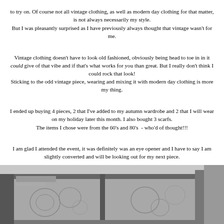to try on. Of course not all vintage clothing, as well as modern day clothing for that matter, is not always necessarily my style. But I was pleasantly surprised as I have previously always thought that vintage wasn't for me.
Vintage clothing doesn't have to look old fashioned, obviously being head to toe in in it could give of that vibe and if that's what works for you than great. But I really don't think I could rock that look! Sticking to the odd vintage piece, wearing and mixing it with modern day clothing is more my thing.
I ended up buying 4 pieces, 2 that I've added to my autumn wardrobe and 2 that I will wear on my holiday later this month. I also bought 3 scarfs. The items I chose were from the 60's and 80's - who'd of thought!!!
I am glad I attended the event, it was definitely was an eye opener and I have to say I am slightly converted and will be looking out for my next piece.
[Figure (photo): Black and white photograph of a street scene showing what appears to be a shop or bus exterior with decorative floral patterns visible on the glass/surface.]